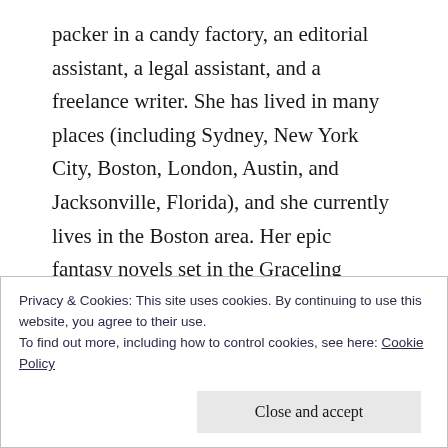packer in a candy factory, an editorial assistant, a legal assistant, and a freelance writer. She has lived in many places (including Sydney, New York City, Boston, London, Austin, and Jacksonville, Florida), and she currently lives in the Boston area. Her epic fantasy novels set in the Graceling Realm–Graceling, Fire, and Bitterblue–have won many awards and much high praise, including picks as ALA Best Books for Young Adults, School Library Journal Best Book of the Year, Booklist Editors Choice, and Publishers Weekly Best Book of the Year. In addition, Graceling was shortlisted for the William C.
Privacy & Cookies: This site uses cookies. By continuing to use this website, you agree to their use.
To find out more, including how to control cookies, see here: Cookie Policy
Close and accept